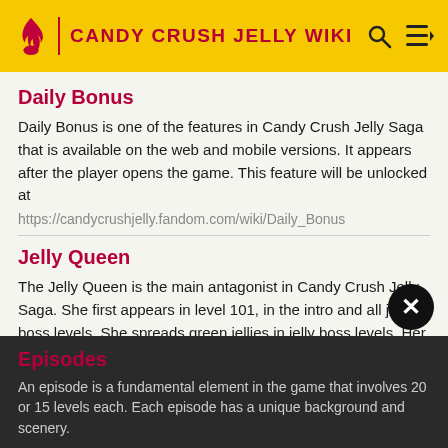CANDY CRUSH JELLY WIKI
Daily Bonus
Daily Bonus is one of the features in Candy Crush Jelly Saga that is available on the web and mobile versions. It appears after the player opens the game. This feature will be unlocked at
https://candycrushjelly.fandom.com/wiki/Daily_Bonus
Jelly Queen
The Jelly Queen is the main antagonist in Candy Crush Jelly Saga. She first appears in level 101, in the intro and all jelly boss levels. She spreads green jellies in jelly boss levels. Her
https://candycrushjelly.fandom.com/wiki/Jelly_Queen
Episodes
An episode is a fundamental element in the game that involves 20 or 15 levels each. Each episode has a unique background and scenery.